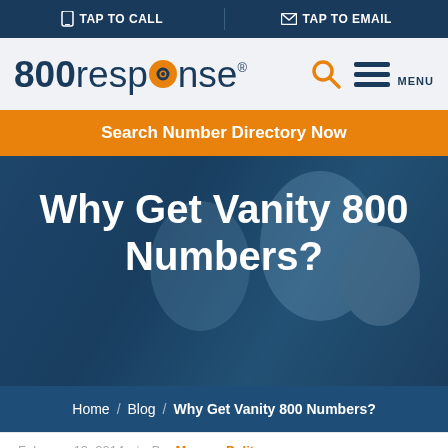TAP TO CALL   TAP TO EMAIL
[Figure (logo): 800response logo with search and menu icons]
Search Number Directory Now
Why Get Vanity 800 Numbers?
Home / Blog / Why Get Vanity 800 Numbers?
February 10, 2014  |  By: Morgan Pulitzer